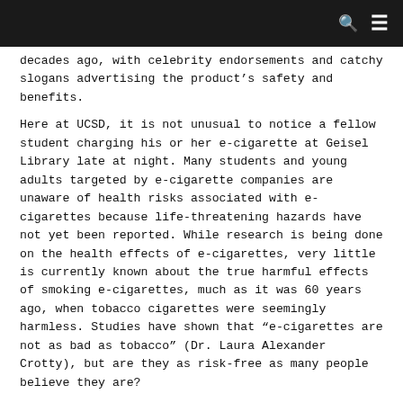decades ago, with celebrity endorsements and catchy slogans advertising the product's safety and benefits.
Here at UCSD, it is not unusual to notice a fellow student charging his or her e-cigarette at Geisel Library late at night. Many students and young adults targeted by e-cigarette companies are unaware of health risks associated with e-cigarettes because life-threatening hazards have not yet been reported. While research is being done on the health effects of e-cigarettes, very little is currently known about the true harmful effects of smoking e-cigarettes, much as it was 60 years ago, when tobacco cigarettes were seemingly harmless. Studies have shown that “e-cigarettes are not as bad as tobacco” (Dr. Laura Alexander Crotty), but are they as risk-free as many people believe they are?